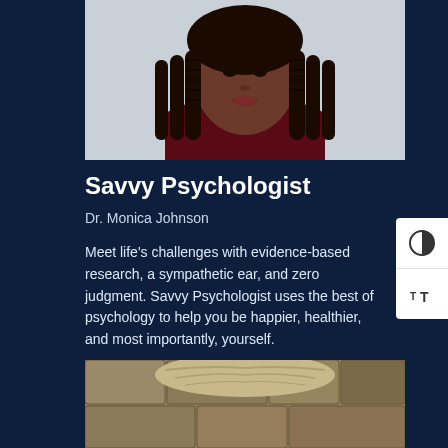[Figure (photo): Portrait photo of Dr. Monica Johnson, a Black woman with long braids, wearing a dark burgundy turtleneck, against a light gray background. Only the upper portion (face/shoulders) is visible.]
Savvy Psychologist
Dr. Monica Johnson
Meet life's challenges with evidence-based research, a sympathetic ear, and zero judgment. Savvy Psychologist uses the best of psychology to help you be happier, healthier, and most importantly, yourself.
[Figure (photo): Bottom portion of another person's head, showing light/gray hair, partially visible at the bottom of the page against a stone/rock background.]